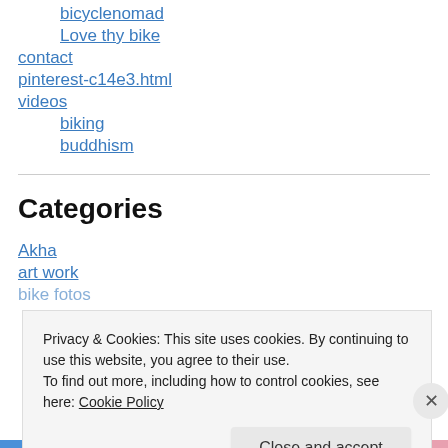bicyclenomad
Love thy bike
contact
pinterest-c14e3.html
videos
biking
buddhism
Categories
Akha
art work
bike fotos
Privacy & Cookies: This site uses cookies. By continuing to use this website, you agree to their use.
To find out more, including how to control cookies, see here: Cookie Policy
Close and accept